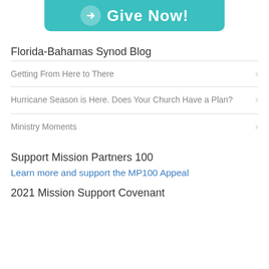[Figure (other): Teal Give Now! button with arrow circle icon at top of page]
Florida-Bahamas Synod Blog
Getting From Here to There
Hurricane Season is Here. Does Your Church Have a Plan?
Ministry Moments
Support Mission Partners 100
Learn more and support the MP100 Appeal
2021 Mission Support Covenant